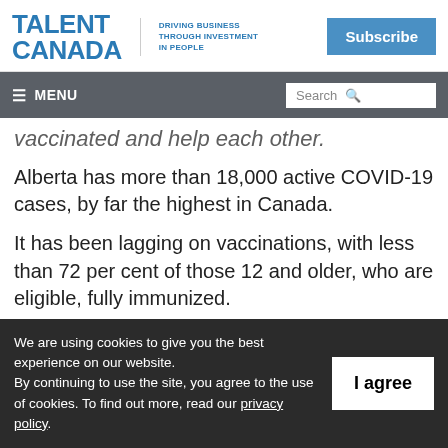TALENT CANADA | DRIVING BUSINESS THROUGH INVESTMENT IN PEOPLE | Subscribe
≡ MENU | Search
vaccinated and help each other.
Alberta has more than 18,000 active COVID-19 cases, by far the highest in Canada.
It has been lagging on vaccinations, with less than 72 per cent of those 12 and older, who are eligible, fully immunized.
We are using cookies to give you the best experience on our website. By continuing to use the site, you agree to the use of cookies. To find out more, read our privacy policy.